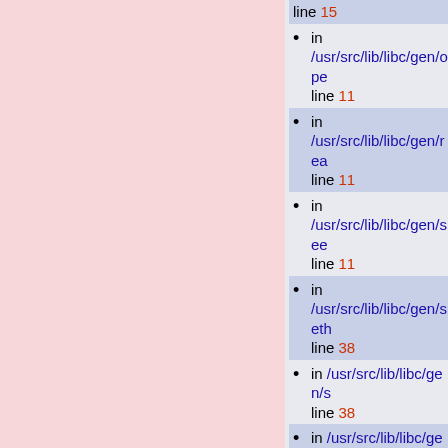in /usr/src/lib/libc/gen/ope... line 15
in /usr/src/lib/libc/gen/ope... line 11
in /usr/src/lib/libc/gen/read... line 11
in /usr/src/lib/libc/gen/seek... line 11
in /usr/src/lib/libc/gen/seth... line 38
in /usr/src/lib/libc/gen/s... line 38
in /usr/src/lib/libc/gen/t... line 11
in /usr/src/lib/libc/gen/ttyn... line 12
in /usr/src/lib/libc/gen/u... line 38
in /usr/src/lib/libc/inet/inet... line 38